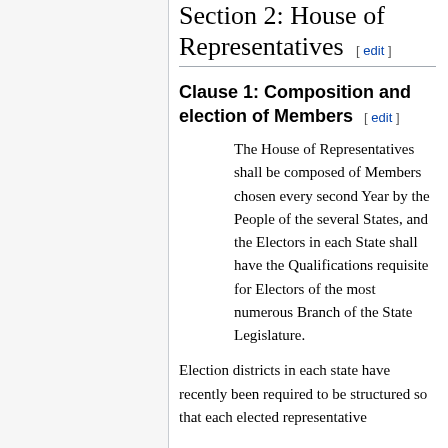Section 2: House of Representatives [ edit ]
Clause 1: Composition and election of Members [ edit ]
The House of Representatives shall be composed of Members chosen every second Year by the People of the several States, and the Electors in each State shall have the Qualifications requisite for Electors of the most numerous Branch of the State Legislature.
Election districts in each state have recently been required to be structured so that each elected representative